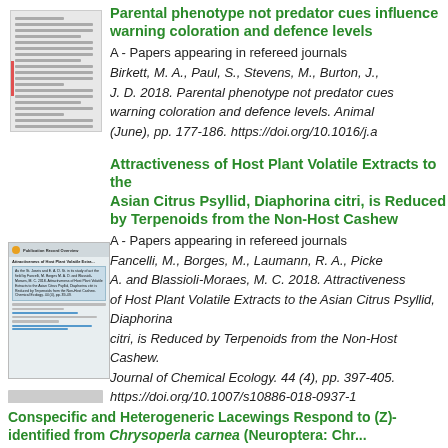[Figure (other): Thumbnail image of a document page (first publication)]
Parental phenotype not predator cues influence warning coloration and defence levels
A - Papers appearing in refereed journals
Birkett, M. A., Paul, S., Stevens, M., Burton, J., J. D. 2018. Parental phenotype not predator cues warning coloration and defence levels. Animal (June), pp. 177-186. https://doi.org/10.1016/j.a
[Figure (other): Thumbnail image of a document page (second publication)]
Attractiveness of Host Plant Volatile Extracts to the Asian Citrus Psyllid, Diaphorina citri, is Reduced by Terpenoids from the Non-Host Cashew
A - Papers appearing in refereed journals
Fancelli, M., Borges, M., Laumann, R. A., Picke A. and Blassioli-Moraes, M. C. 2018. Attractiveness of Host Plant Volatile Extracts to the Asian Citrus Psyllid, Diaphorina citri, is Reduced by Terpenoids from the Non-Host Cashew. Journal of Chemical Ecology. 44 (4), pp. 397-405. https://doi.org/10.1007/s10886-018-0937-1
Conspecific and Heterogeneric Lacewings Respond to (Z)- identified from Chrysoperla carnea (Neuroptera: Chr...